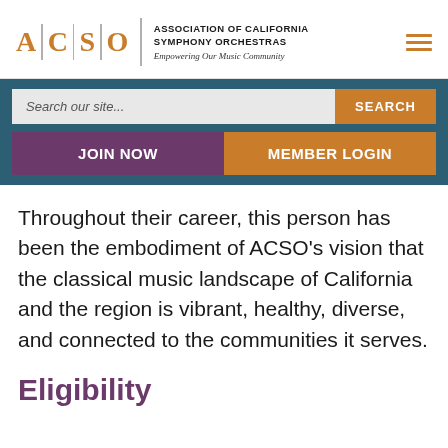[Figure (logo): ACSO logo with orange letters A, C, S, O separated by vertical dividers, full name 'ASSOCIATION OF CALIFORNIA SYMPHONY ORCHESTRAS' and tagline 'Empowering Our Music Community', plus orange hamburger menu icon]
[Figure (screenshot): Navigation bar with dark teal background containing a search field with placeholder 'Search our site...' and orange SEARCH button, plus JOIN NOW (purple) and MEMBER LOGIN (orange) buttons]
Throughout their career, this person has been the embodiment of ACSO’s vision that the classical music landscape of California and the region is vibrant, healthy, diverse, and connected to the communities it serves.
Eligibility